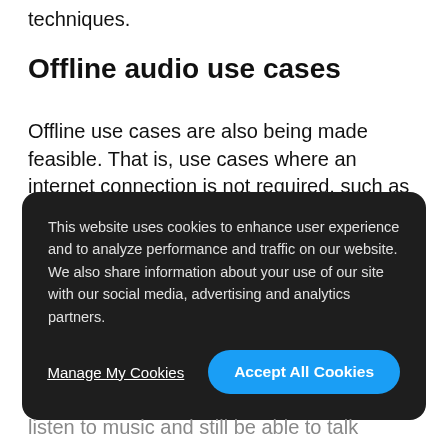techniques.
Offline audio use cases
Offline use cases are also being made feasible. That is, use cases where an internet connection is not required, such as those where communication happens directly between devices (peer to peer) or within a single device (e.g., embedded in headphones, to alter the audio in your
This website uses cookies to enhance user experience and to analyze performance and traffic on our website. We also share information about your use of our site with our social media, advertising and analytics partners.
Manage My Cookies
Accept All Cookies
listen to music and still be able to talk